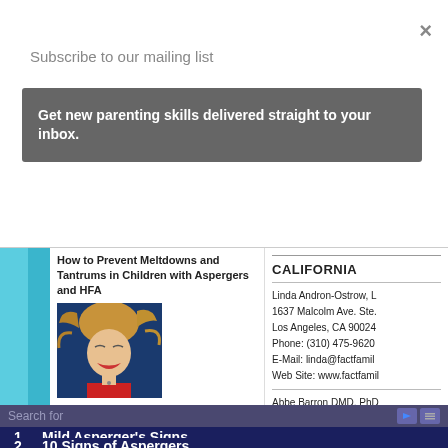Subscribe to our mailing list
×
Get new parenting skills delivered straight to your inbox.
How to Prevent Meltdowns and Tantrums in Children with Aspergers and HFA
[Figure (photo): Girl with hair blowing, mouth open, wearing red top]
Teaching Social Skills to Children on the Spectrum: Introduction
CALIFORNIA
Linda Andron-Ostrow, LC
1637 Malcolm Ave. Ste. ?
Los Angeles, CA 90024
Phone: (310) 475-9620
E-Mail: linda@factfamil
Web Site: www.factfamil
Abbe Barron DMD, PhD
337 So. Beverly Dr. Suite
Beverly Hills, CA 90212
Search for
Mild Asperger's Signs
10 Signs of Aspergers